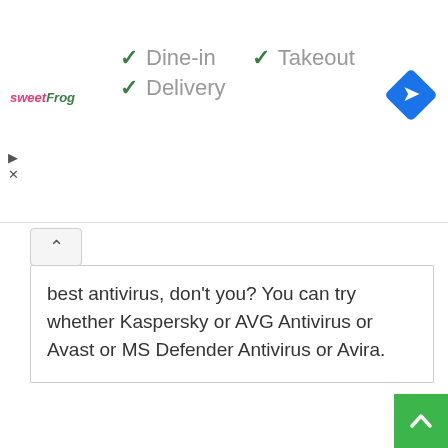[Figure (screenshot): Ad banner with sweetFrog logo, checkmarks for Dine-in, Takeout, Delivery, and a blue navigation/directions diamond icon on the right]
best antivirus, don't you? You can try whether Kaspersky or AVG Antivirus or Avast or MS Defender Antivirus or Avira.
[Figure (logo): Kaspersky Security Cloud Free logo: teal hexagon with purple shield and white checkmark inside]
Kaspersky Security Cloud Free
An easy-to-use antivirus offers powerful security to your PC. It offers strong security against an extensive